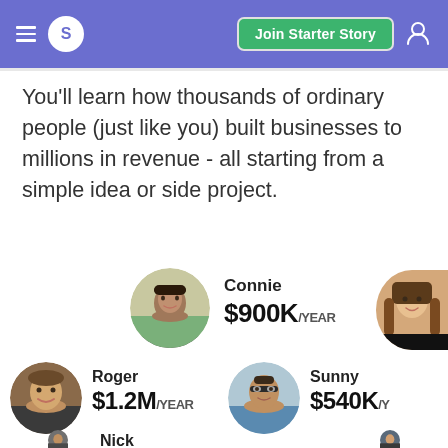S | Join Starter Story
You’ll learn how thousands of ordinary people (just like you) built businesses to millions in revenue - all starting from a simple idea or side project.
[Figure (photo): Circular avatar photo of Connie, a woman sitting outdoors]
Connie
$900K/YEAR
[Figure (photo): Partial circular avatar photo of a woman with long hair, cropped on right side]
[Figure (photo): Circular avatar photo of Roger, a smiling man]
Roger
$1.2M/YEAR
[Figure (photo): Circular avatar photo of Sunny, a man with glasses]
Sunny
$540K/Y
Nick